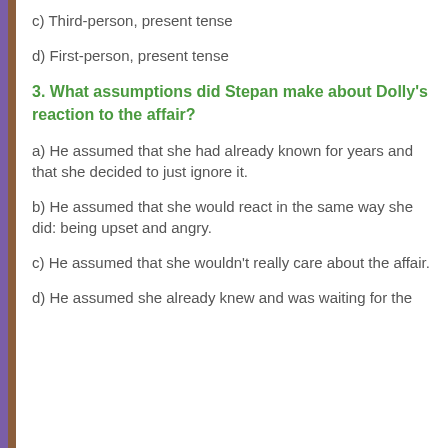c) Third-person, present tense
d) First-person, present tense
3. What assumptions did Stepan make about Dolly's reaction to the affair?
a) He assumed that she had already known for years and that she decided to just ignore it.
b) He assumed that she would react in the same way she did: being upset and angry.
c) He assumed that she wouldn't really care about the affair.
d) He assumed she already knew and was waiting for the